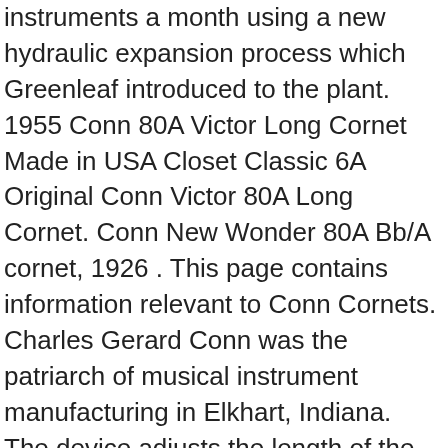instruments a month using a new hydraulic expansion process which Greenleaf introduced to the plant. 1955 Conn 80A Victor Long Cornet Made in USA Closet Classic 6A Original Conn Victor 80A Long Cornet. Conn New Wonder 80A Bb/A cornet, 1926 . This page contains information relevant to Conn Cornets. Charles Gerard Conn was the patriarch of musical instrument manufacturing in Elkhart, Indiana. The device adjusts the length of the neck, controlled by a threaded barrel near the mouthpiece end. Two years later he was re-nominated, but declined the nomination unless the party permitted him to make the canvass on a "reformed" platform. By 1893 his instruments were awarded the highest honors in the Worldâs Columbia Exposition in Chicago. Production of other wind instruments remained in Elkhart. . In 2002, UMI merged with the Selmer Company to form Conn-Selmer, Inc. and later in 2004 merged with G. Leblanc Corporation. Brasswind manufacturing moved to Abilene Texas and woodwind production was moved from Nogales, Arizona to Nogales, Mexico. There are three existing